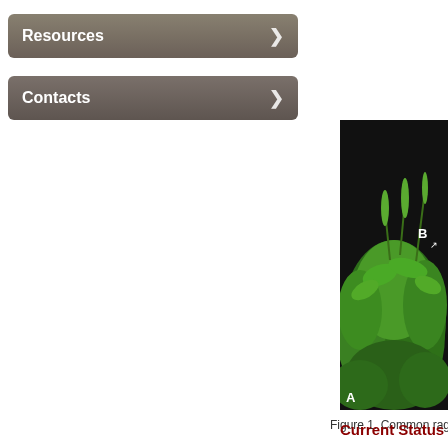Resources
Contacts
[Figure (photo): Photograph of common ragweed plant with green deeply-lobed leaves against black background, labeled A at bottom-left and B at upper-right showing close-up of flower spike]
Figure 1. Common ragw...
Current Status